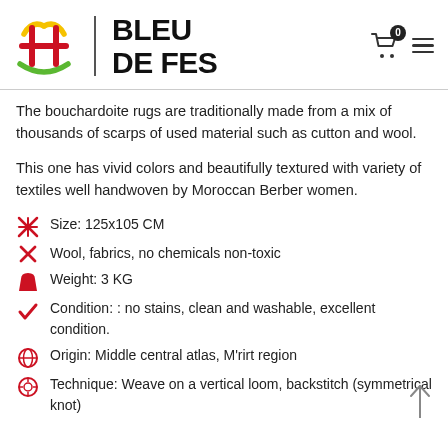[Figure (logo): Bleu de Fes logo with decorative Amazigh/Berber symbol in red, yellow, green and a vertical divider, followed by bold text BLEU DE FES]
The bouchardoite rugs are traditionally made from a mix of thousands of scarps of used material such as cutton and wool.
This one has vivid colors and beautifully textured with variety of textiles well handwoven by Moroccan Berber women.
Size: 125x105 CM
Wool, fabrics, no chemicals non-toxic
Weight: 3 KG
Condition: : no stains, clean and washable, excellent condition.
Origin: Middle central atlas, M'rirt region
Technique: Weave on a vertical loom, backstitch (symmetrical knot)